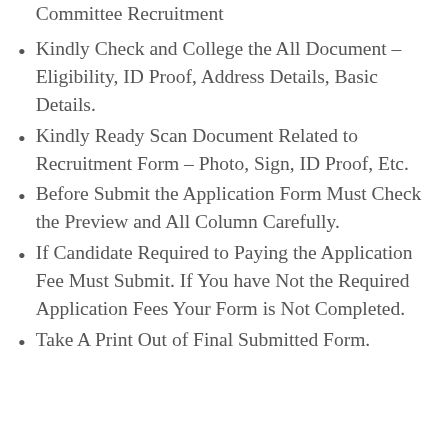Committee Recruitment
Kindly Check and College the All Document – Eligibility, ID Proof, Address Details, Basic Details.
Kindly Ready Scan Document Related to Recruitment Form – Photo, Sign, ID Proof, Etc.
Before Submit the Application Form Must Check the Preview and All Column Carefully.
If Candidate Required to Paying the Application Fee Must Submit. If You have Not the Required Application Fees Your Form is Not Completed.
Take A Print Out of Final Submitted Form.